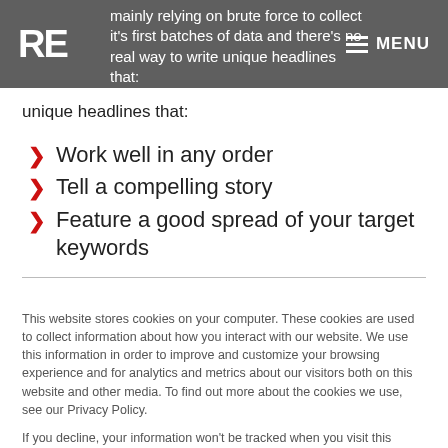RE  MENU
mainly relying on brute force to collect it's first batches of data and there's no real way to write unique headlines that:
Work well in any order
Tell a compelling story
Feature a good spread of your target keywords
This website stores cookies on your computer. These cookies are used to collect information about how you interact with our website. We use this information in order to improve and customize your browsing experience and for analytics and metrics about our visitors both on this website and other media. To find out more about the cookies we use, see our Privacy Policy.
If you decline, your information won't be tracked when you visit this website. A single cookie will be used in your browser to remember your preference not to be tracked.